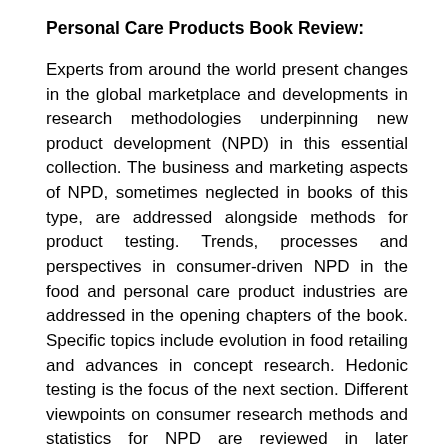Personal Care Products Book Review:
Experts from around the world present changes in the global marketplace and developments in research methodologies underpinning new product development (NPD) in this essential collection. The business and marketing aspects of NPD, sometimes neglected in books of this type, are addressed alongside methods for product testing. Trends, processes and perspectives in consumer-driven NPD in the food and personal care product industries are addressed in the opening chapters of the book. Specific topics include evolution in food retailing and advances in concept research. Hedonic testing is the focus of the next section. Different viewpoints on consumer research methods and statistics for NPD are reviewed in later chapters. The final part of the book looks